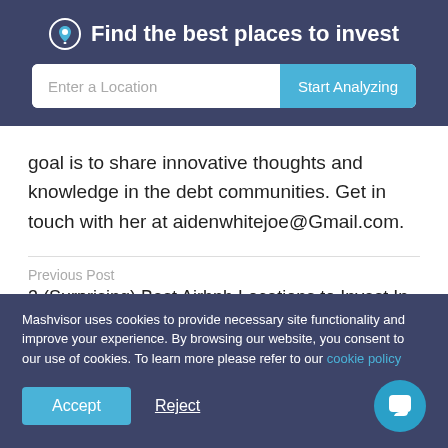Find the best places to invest
goal is to share innovative thoughts and knowledge in the debt communities. Get in touch with her at aidenwhitejoe@Gmail.com.
Previous Post
3 (Surprising) Best Airbnb Locations to Invest In
Mashvisor uses cookies to provide necessary site functionality and improve your experience. By browsing our website, you consent to our use of cookies. To learn more please refer to our cookie policy